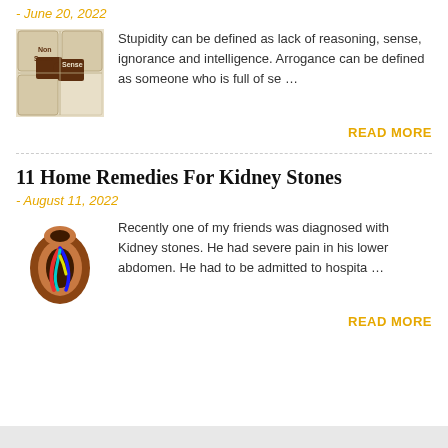- June 20, 2022
[Figure (illustration): Puzzle pieces illustration with 'Non Sense' and 'Sense' text on brown and beige puzzle pieces]
Stupidity can be defined as lack of reasoning, sense, ignorance and intelligence. Arrogance can be defined as someone who is full of se ...
READ MORE
11 Home Remedies For Kidney Stones
- August 11, 2022
[Figure (illustration): Medical illustration of a human kidney cross-section with colored vessels (red, blue, cyan, yellow)]
Recently one of my friends was diagnosed with Kidney stones. He had severe pain in his lower abdomen. He had to be admitted to hospita ...
READ MORE